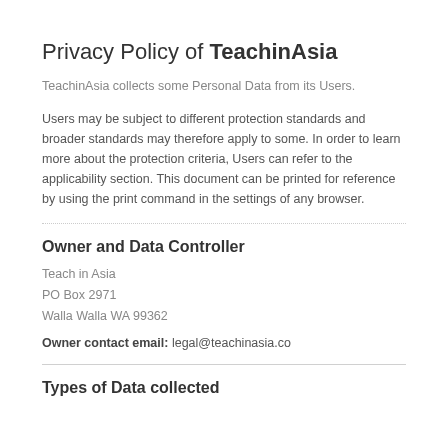Privacy Policy of TeachinAsia
TeachinAsia collects some Personal Data from its Users.
Users may be subject to different protection standards and broader standards may therefore apply to some. In order to learn more about the protection criteria, Users can refer to the applicability section. This document can be printed for reference by using the print command in the settings of any browser.
Owner and Data Controller
Teach in Asia
PO Box 2971
Walla Walla WA 99362
Owner contact email: legal@teachinasia.co
Types of Data collected